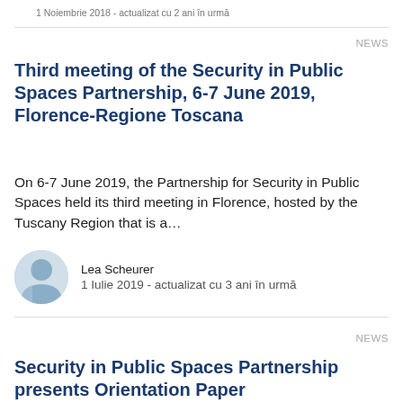1 Noiembrie 2018 - actualizat cu 2 ani în urmă
NEWS
Third meeting of the Security in Public Spaces Partnership, 6-7 June 2019, Florence-Regione Toscana
On 6-7 June 2019, the Partnership for Security in Public Spaces held its third meeting in Florence, hosted by the Tuscany Region that is a…
Lea Scheurer
1 Iulie 2019 - actualizat cu 3 ani în urmă
NEWS
Security in Public Spaces Partnership presents Orientation Paper